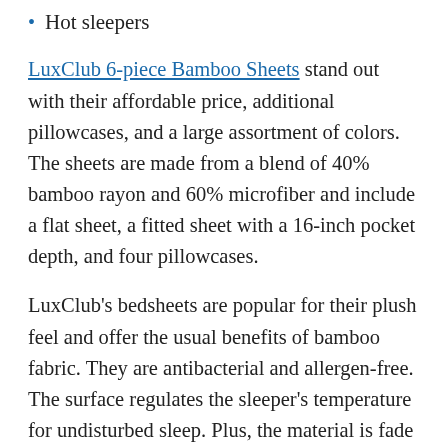Hot sleepers
LuxClub 6-piece Bamboo Sheets stand out with their affordable price, additional pillowcases, and a large assortment of colors. The sheets are made from a blend of 40% bamboo rayon and 60% microfiber and include a flat sheet, a fitted sheet with a 16-inch pocket depth, and four pillowcases.
LuxClub's bedsheets are popular for their plush feel and offer the usual benefits of bamboo fabric. They are antibacterial and allergen-free. The surface regulates the sleeper's temperature for undisturbed sleep. Plus, the material is fade and wrinkle-resistant.